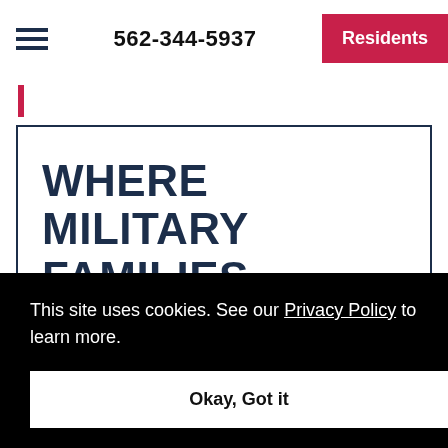562-344-5937  Residents
WHERE MILITARY FAMILIES THRIVE
This site uses cookies. See our Privacy Policy to learn more.
Okay, Got it
including our basketball courts, skate park,